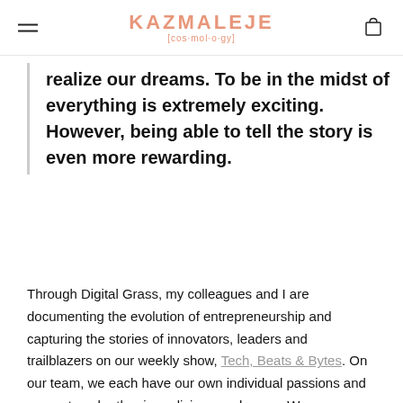KAZMALEJE [cos·mol·o·gy]
realize our dreams. To be in the midst of everything is extremely exciting. However, being able to tell the story is even more rewarding.
Through Digital Grass, my colleagues and I are documenting the evolution of entrepreneurship and capturing the stories of innovators, leaders and trailblazers on our weekly show, Tech, Beats & Bytes. On our team, we each have our own individual passions and support each other in realizing our dreams. We are a collective of creative entrepreneurs driven to diversify the marketplace with innovative solutions, like the patent